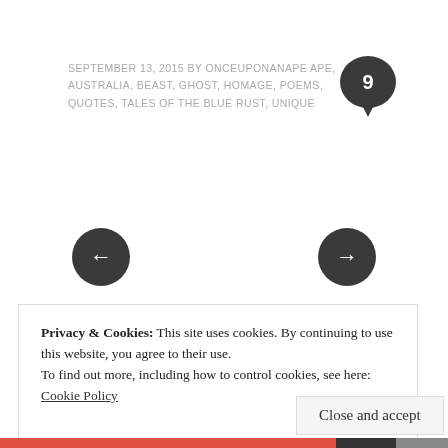SEPTEMBER 13, 2015 BY ONCEUPONANAPE APE, AUSTRALIA, BEAST, GHOST, HOMAGE, POEMS, QUOTES, TALES OF THE BLUE RUST, UNIQUE
[Figure (other): Dark circular comment bubble with number 9 inside and a downward pointer]
[Figure (other): Dark circular navigation button with left arrow]
[Figure (other): Dark circular navigation button with right arrow]
Privacy & Cookies: This site uses cookies. By continuing to use this website, you agree to their use.
To find out more, including how to control cookies, see here: Cookie Policy
Close and accept